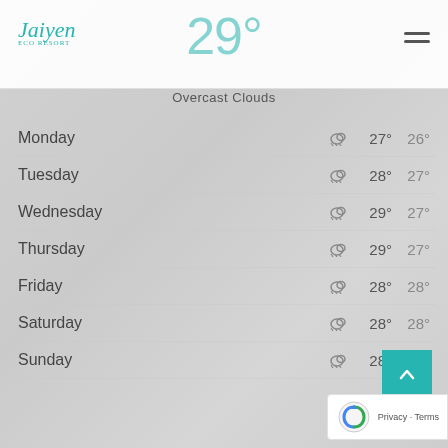Jaiyen (logo) | hamburger menu
29°
Overcast Clouds
Monday  ☁  27°  26°
Tuesday  ☁  28°  27°
Wednesday  ☁  29°  27°
Thursday  ☁  29°  27°
Friday  ☁  28°  28°
Saturday  ☁  28°  28°
Sunday  ☁  28°  27°